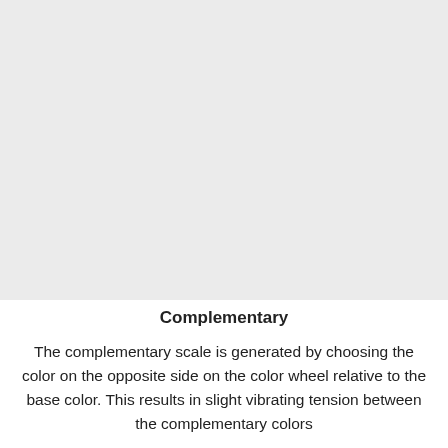[Figure (other): Large light gray rectangular area occupying the upper portion of the page]
Complementary
The complementary scale is generated by choosing the color on the opposite side on the color wheel relative to the base color. This results in slight vibrating tension between the complementary colors